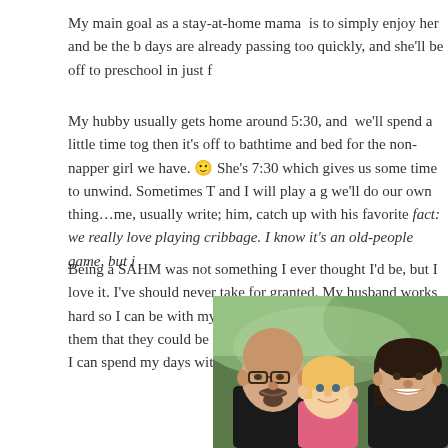My main goal as a stay-at-home mama  is to simply enjoy her and be the b... days are already passing too quickly, and she'll be off to preschool in just f...
My hubby usually gets home around 5:30, and  we'll spend a little time tog... then it's off to bathtime and bed for the non-napper girl we have. 🙂 She's... 7:30 which gives us some time to unwind. Sometimes T and I will play a g... we'll do our own thing…me, usually write; him, catch up with his favorite... fact: we really love playing cribbage. I know it's an old-people game, but i...
Being a SAHM was not something I ever thought I'd be, but I love it. I've... should never take for granted. My husband works hard so I can be with my... mamas who wish with everything in them that they could be home with the... blessed, and so thankful I can spend my days with Mae. 🙂
[Figure (photo): Family photo showing a bald man with glasses and a goatee, a young blonde girl, and a dark-haired woman, all smiling in an outdoor setting with green foliage in the background.]